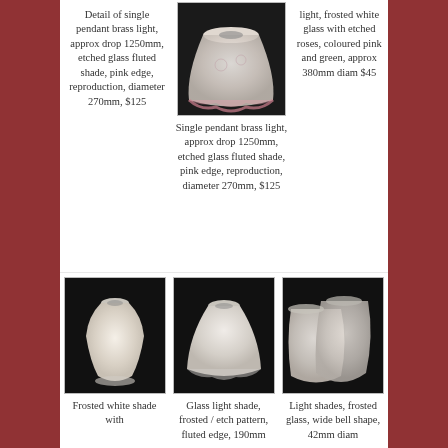[Figure (photo): Frosted glass fluted pendant lamp shade with pink edge, bell shape viewed from below]
Detail of single pendant brass light, approx drop 1250mm, etched glass fluted shade, pink edge, reproduction, diameter 270mm, $125
Single pendant brass light, approx drop 1250mm, etched glass fluted shade, pink edge, reproduction, diameter 270mm, $125
light, frosted white glass with etched roses, coloured pink and green, approx 380mm diam $45
[Figure (photo): Frosted white milk glass lamp shade, squat vase shape]
Frosted white shade with
[Figure (photo): Glass light shade frosted with etch floral pattern, fluted edge]
Glass light shade, frosted / etch pattern, fluted edge, 190mm
[Figure (photo): Light shades, frosted glass, wide bell shape, pair]
Light shades, frosted glass, wide bell shape, 42mm diam